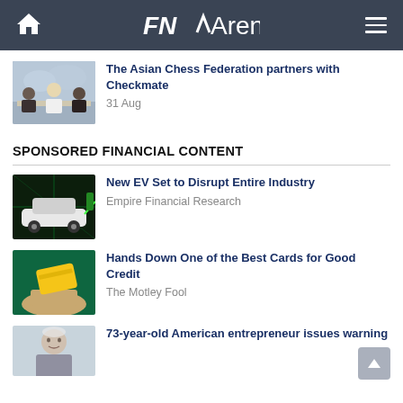FNArena
[Figure (photo): Three men sitting at a table in front of a world map, appearing to be signing or discussing documents at a formal meeting.]
The Asian Chess Federation partners with Checkmate
31 Aug
SPONSORED FINANCIAL CONTENT
[Figure (photo): An electric vehicle plugged into a charging station, green-tinted image.]
New EV Set to Disrupt Entire Industry
Empire Financial Research
[Figure (photo): A hand holding a yellow credit card against a green background.]
Hands Down One of the Best Cards for Good Credit
The Motley Fool
[Figure (photo): An older man, approximately 73 years old, appearing to be an American entrepreneur.]
73-year-old American entrepreneur issues warning